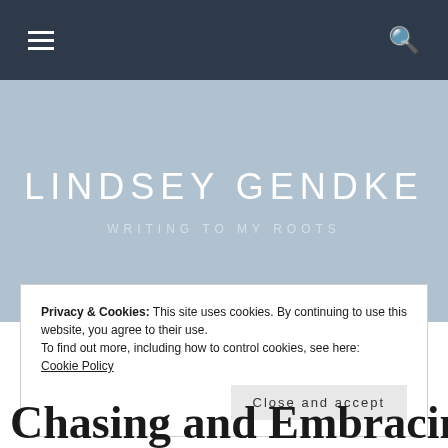Navigation bar with hamburger menu and search icon
LINDSEY GENDKE
WRITING TO MY ROOTS
Privacy & Cookies: This site uses cookies. By continuing to use this website, you agree to their use.
To find out more, including how to control cookies, see here:
Cookie Policy
Close and accept
Chasing and Embracing